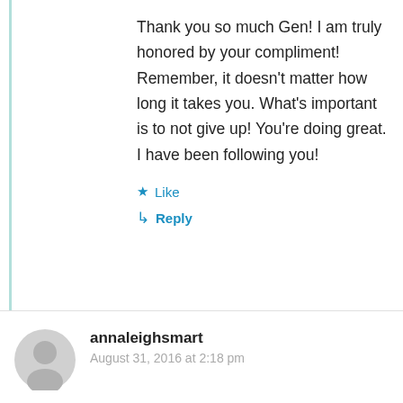Thank you so much Gen! I am truly honored by your compliment! Remember, it doesn't matter how long it takes you. What's important is to not give up! You're doing great. I have been following you!
Like
Reply
annaleighsmart
August 31, 2016 at 2:18 pm